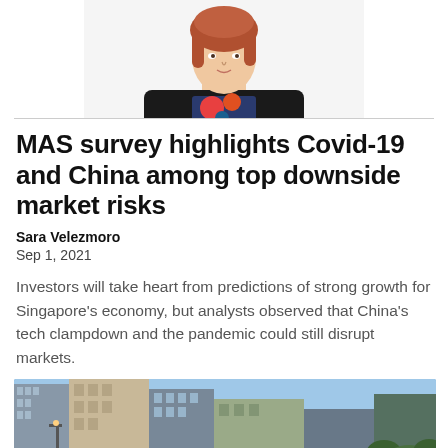[Figure (photo): Headshot of Sara Velezmoro, a woman with reddish hair wearing a black blazer over a colorful floral top]
MAS survey highlights Covid-19 and China among top downside market risks
Sara Velezmoro
Sep 1, 2021
Investors will take heart from predictions of strong growth for Singapore's economy, but analysts observed that China's tech clampdown and the pandemic could still disrupt markets.
[Figure (photo): Upward-angled photograph of tall city skyscrapers against a blue sky]